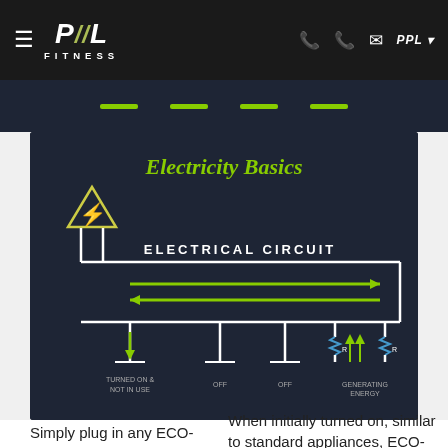PPL FITNESS — navigation bar with hamburger menu, PPL Fitness logo, phone icons, email icon, PPL dropdown
[Figure (infographic): Electricity Basics infographic showing an electrical circuit diagram with a power source (lightning bolt warning symbol), circuit loop with arrows showing current flow direction (green arrows going right on top, left on bottom), and four device states: Turned On & Not In Use, Off, Off, Generating Energy (with resistor symbols R). Dark navy background with white circuit lines and green accent arrows. Title reads 'Electricity Basics' in green cursive, subtitle 'ELECTRICAL CIRCUIT' in white caps.]
Simply plug in any ECO-POWR™ product, or daisy-
When initially turned on, similar to standard appliances, ECO-POWR™